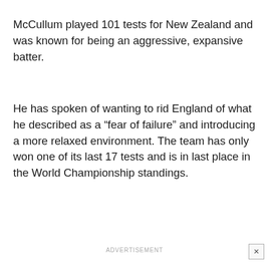McCullum played 101 tests for New Zealand and was known for being an aggressive, expansive batter.
He has spoken of wanting to rid England of what he described as a “fear of failure” and introducing a more relaxed environment. The team has only won one of its last 17 tests and is in last place in the World Championship standings.
ADVERTISEMENT